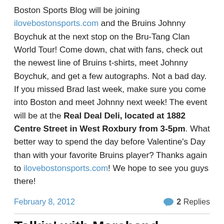Boston Sports Blog will be joining ilovebostonsports.com and the Bruins Johnny Boychuk at the next stop on the Bru-Tang Clan World Tour! Come down, chat with fans, check out the newest line of Bruins t-shirts, meet Johnny Boychuk, and get a few autographs. Not a bad day. If you missed Brad last week, make sure you come into Boston and meet Johnny next week! The event will be at the Real Deal Deli, located at 1882 Centre Street in West Roxbury from 3-5pm. What better way to spend the day before Valentine's Day than with your favorite Bruins player? Thanks again to ilovebostonsports.com! We hope to see you guys there!
February 8, 2012   2 Replies
Talkin' with Marchand